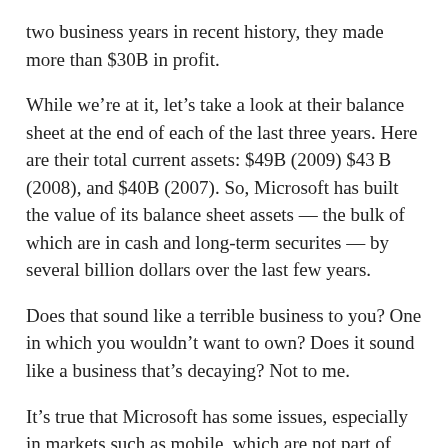two business years in recent history, they made more than $30B in profit.
While we're at it, let's take a look at their balance sheet at the end of each of the last three years. Here are their total current assets: $49B (2009) $43B (2008), and $40B (2007). So, Microsoft has built the value of its balance sheet assets — the bulk of which are in cash and long-term securites — by several billion dollars over the last few years.
Does that sound like a terrible business to you? One in which you wouldn't want to own? Does it sound like a business that's decaying? Not to me.
It's true that Microsoft has some issues, especially in markets such as mobile, which are not part of their core profitability. I will address these issues tomorrow. But to describe their